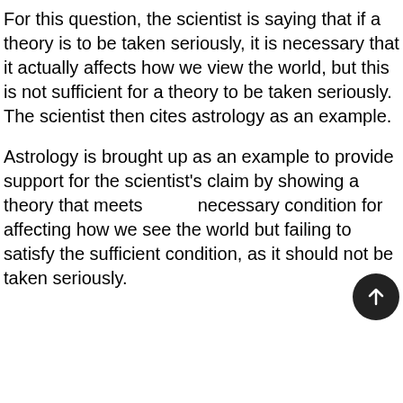For this question, the scientist is saying that if a theory is to be taken seriously, it is necessary that it actually affects how we view the world, but this is not sufficient for a theory to be taken seriously. The scientist then cites astrology as an example.
Astrology is brought up as an example to provide support for the scientist's claim by showing a theory that meets the necessary condition for affecting how we see the world but failing to satisfy the sufficient condition, as it should not be taken seriously.